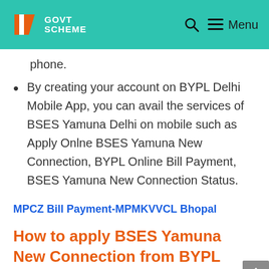GOVT SCHEME — Menu
phone.
By creating your account on BYPL Delhi Mobile App, you can avail the services of BSES Yamuna Delhi on mobile such as Apply Onlne BSES Yamuna New Connection, BYPL Online Bill Payment, BSES Yamuna New Connection Status.
MPCZ Bill Payment-MPMKVVCL Bhopal
How to apply BSES Yamuna New Connection from BYPL Mobile App?